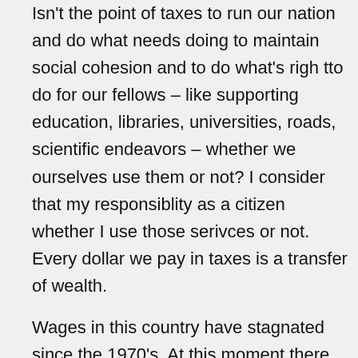Isn't the point of taxes to run our nation and do what needs doing to maintain social cohesion and to do what's righ tto do for our fellows – like supporting education, libraries, universities, roads, scientific endeavors – whether we ourselves use them or not? I consider that my responsiblity as a citizen whether I use those serivces or not. Every dollar we pay in taxes is a transfer of wealth.
Wages in this country have stagnated since the 1970's. At this moment there are five people wanting work for every new job that's available. Stability is threatened when the wage inequality gets to broad.